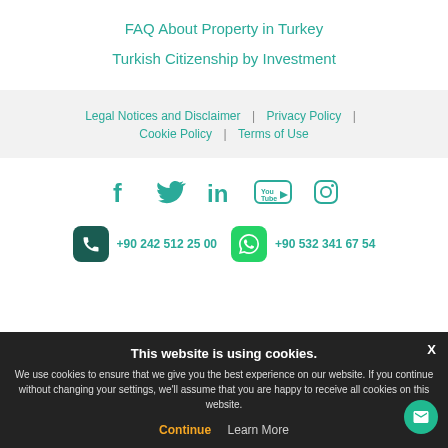FAQ About Property in Turkey
Turkish Citizenship by Investment
Legal Notices and Disclaimer  |  Privacy Policy  |  Cookie Policy  |  Terms of Use
[Figure (illustration): Social media icons: Facebook, Twitter, LinkedIn, YouTube, Instagram in teal color]
+90 242 512 25 00   +90 532 341 67 54
This website is using cookies. We use cookies to ensure that we give you the best experience on our website. If you continue without changing your settings, we'll assume that you are happy to receive all cookies on this website. Continue  Learn More